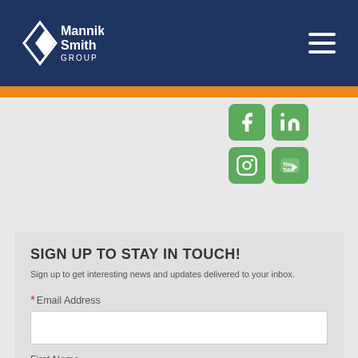[Figure (logo): Mannik Smith Group logo — white arrow/diamond icon with white text 'Mannik Smith GROUP' on dark navy background]
[Figure (infographic): Social media icons: Facebook (f), LinkedIn (in), Instagram (camera), YouTube — green rounded square icons]
SIGN UP TO STAY IN TOUCH!
Sign up to get interesting news and updates delivered to your inbox.
* Email Address
First Name